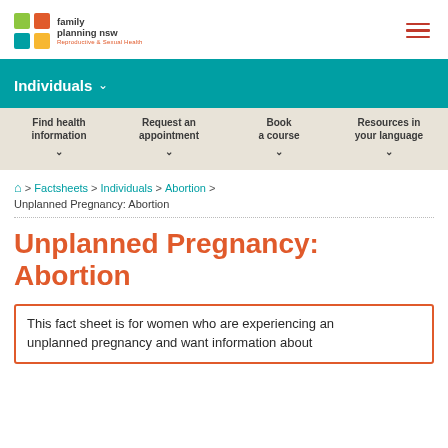Family Planning NSW — Reproductive & Sexual Health
Individuals
Find health information | Request an appointment | Book a course | Resources in your language
Home > Factsheets > Individuals > Abortion > Unplanned Pregnancy: Abortion
Unplanned Pregnancy: Abortion
This fact sheet is for women who are experiencing an unplanned pregnancy and want information about